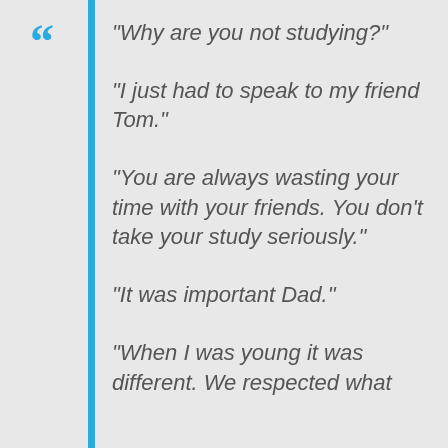"Why are you not studying?"

"I just had to speak to my friend Tom."

"You are always wasting your time with your friends. You don't take your study seriously."

"It was important Dad."

"When I was young it was different. We respected what